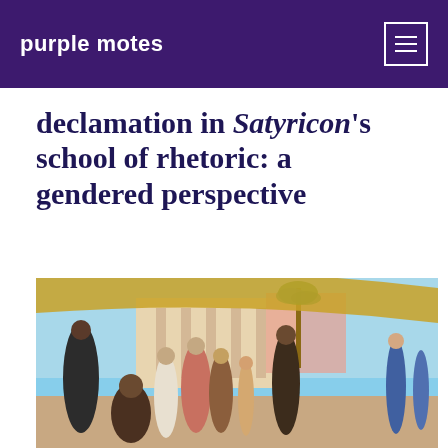purple motes
declamation in Satyricon's school of rhetoric: a gendered perspective
[Figure (photo): A classical painting depicting a ancient Roman or Greek scene with multiple figures in a courtyard or public space, with architectural columns, a palm tree, and a large awning overhead. The scene shows robed figures gathered together, suggestive of a rhetorical or philosophical setting.]